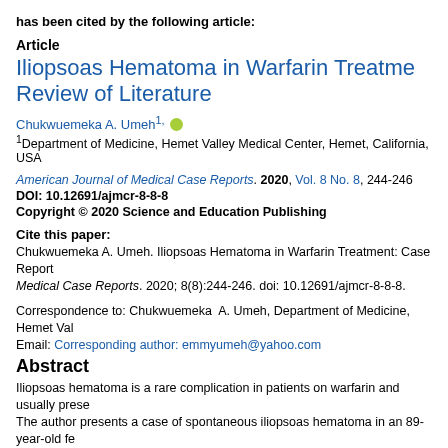has been cited by the following article:
Article
Iliopsoas Hematoma in Warfarin Treatment: Review of Literature
Chukwuemeka A. Umeh¹
¹Department of Medicine, Hemet Valley Medical Center, Hemet, California, USA
American Journal of Medical Case Reports. 2020, Vol. 8 No. 8, 244-246
DOI: 10.12691/ajmcr-8-8-8
Copyright © 2020 Science and Education Publishing
Cite this paper:
Chukwuemeka A. Umeh. Iliopsoas Hematoma in Warfarin Treatment: Case Report and Review of Literature. American Journal of Medical Case Reports. 2020; 8(8):244-246. doi: 10.12691/ajmcr-8-8-8.
Correspondence to: Chukwuemeka A. Umeh, Department of Medicine, Hemet Valley Medical Center, Hemet, California, USA. Email: Corresponding author: emmyumeh@yahoo.com
Abstract
Iliopsoas hematoma is a rare complication in patients on warfarin and usually presents with hip or thigh pain. The author presents a case of spontaneous iliopsoas hematoma in an 89-year-old female with atrial fibrillation and hip fracture. A review of 12 case reports on iliopsoas hematoma in patients on warfarin shows the mean age of presentation is 72 years. Patients present with lower abdominal, groin, flank or thigh pain (100%), difficulty walking (50%) and loss of or abnormal sensation in the lower extremity (17%). Form patients with therapeutic or sub-therapeutic international normalized ratio (INR).